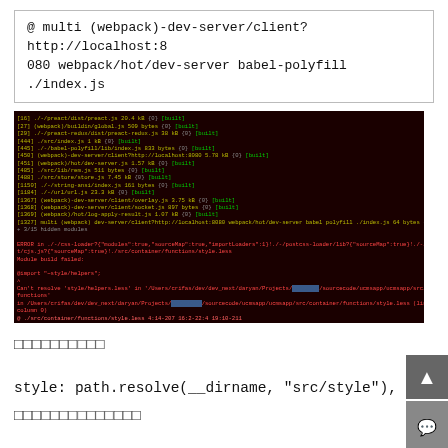@ multi (webpack)-dev-server/client?http://localhost:8080 webpack/hot/dev-server babel-polyfill ./index.js
[Figure (screenshot): Terminal/console output showing webpack build logs with yellow module paths, green [built] tags, followed by red error messages about failing to resolve 'style/helpers.less' in a project path, with some text redacted with blue rectangles]
□□□□□□□□□□
style: path.resolve(__dirname, "src/style"),
□□□□□□□□□□□□□□